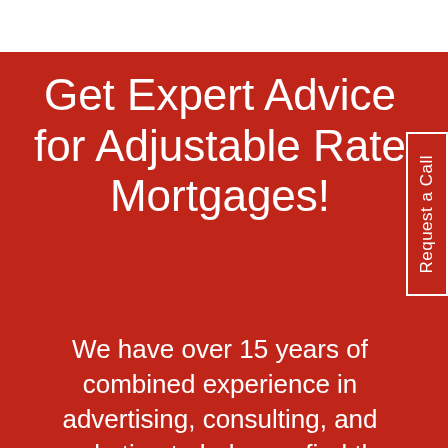Get Expert Advice for Adjustable Rate Mortgages!
We have over 15 years of combined experience in advertising, consulting, and marketing to help you find the answers to your queries. In order to obtain the best results,